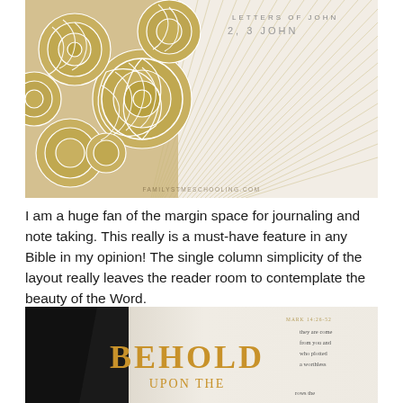[Figure (photo): Close-up photo of a decorative Bible page featuring golden rose/floral patterns on the left side with white outlines, and radiating lines on the right side, with text '2, 3 JOHN' visible at the top. Watermark 'FAMILYSTMESCHOOLING.COM' visible at bottom center.]
I am a huge fan of the margin space for journaling and note taking. This really is a must-have feature in any Bible in my opinion! The single column simplicity of the layout really leaves the reader room to contemplate the beauty of the Word.
[Figure (photo): Bottom portion of a Bible page being turned/flipped, dark background on the left, lighter page on the right showing partial gold text 'BEHOLD' and 'UPON THE' in decorative font, with small text on the right side reading 'they are come from you...who plotted a worthless...rows the']